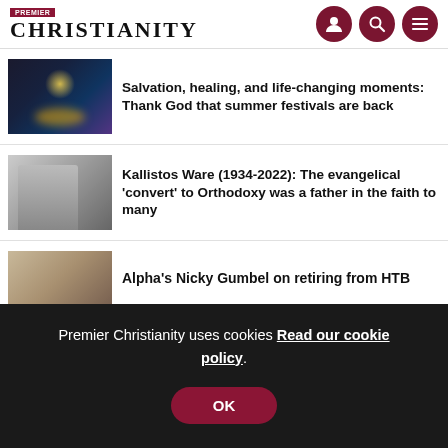Premier Christianity
Salvation, healing, and life-changing moments: Thank God that summer festivals are back
Kallistos Ware (1934-2022): The evangelical 'convert' to Orthodoxy was a father in the faith to many
Alpha's Nicky Gumbel on retiring from HTB
Premier Christianity uses cookies Read our cookie policy. OK